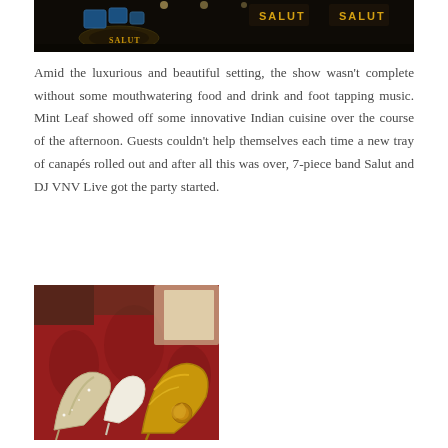[Figure (photo): Dark interior photo of a band stage setup with drum kit; yellow 'SALUT' text visible on banners/signs in the background]
Amid the luxurious and beautiful setting, the show wasn't complete without some mouthwatering food and drink and foot tapping music. Mint Leaf showed off some innovative Indian cuisine over the course of the afternoon. Guests couldn't help themselves each time a new tray of canapés rolled out and after all this was over, 7-piece band Salut and DJ VNV Live got the party started.
[Figure (photo): Close-up photo of decorative high-heel shoes displayed on a red patterned tablecloth — including glittery silver heels and gold metallic heels with floral embellishment]